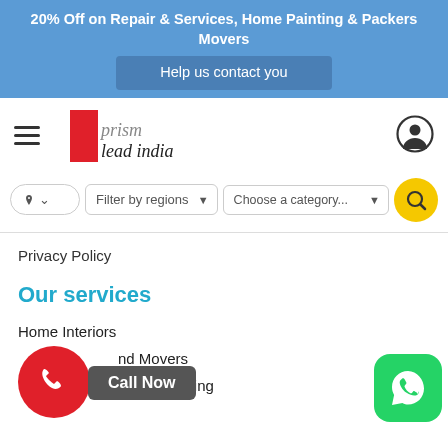20% Off on Repair & Services, Home Painting & Packers Movers
Help us contact you
[Figure (logo): Prism Lead India logo with red rectangle and italic serif text]
[Figure (screenshot): Navigation bar with hamburger menu icon, Prism Lead India logo, and user profile icon]
[Figure (screenshot): Search bar with location dropdown, Filter by regions dropdown, Choose a category dropdown, and yellow search button]
Privacy Policy
Our services
Home Interiors
Packers and Movers
Home Painting
[Figure (screenshot): Call Now floating button (red circle with phone icon) and Call Now label, plus WhatsApp floating button (green rounded square)]